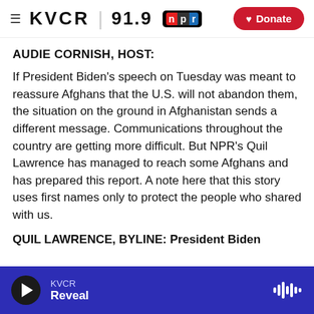KVCR 91.9 NPR · Donate
AUDIE CORNISH, HOST:
If President Biden's speech on Tuesday was meant to reassure Afghans that the U.S. will not abandon them, the situation on the ground in Afghanistan sends a different message. Communications throughout the country are getting more difficult. But NPR's Quil Lawrence has managed to reach some Afghans and has prepared this report. A note here that this story uses first names only to protect the people who shared with us.
QUIL LAWRENCE, BYLINE: President Biden
KVCR · Reveal